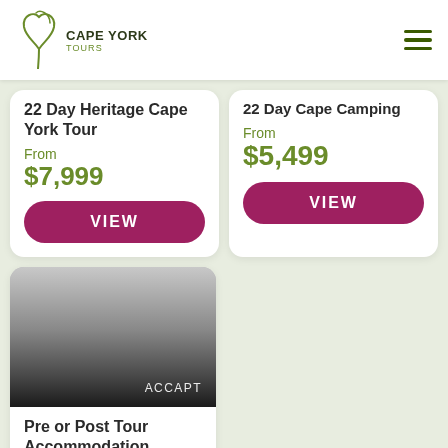CAPE YORK TOURS
22 Day Heritage Cape York Tour
From
$7,999
22 Day Cape Camping
From
$5,499
[Figure (photo): Grayscale image with gradient overlay, labeled ACCAPT]
Pre or Post Tour Accommodation Cairns
From
$0